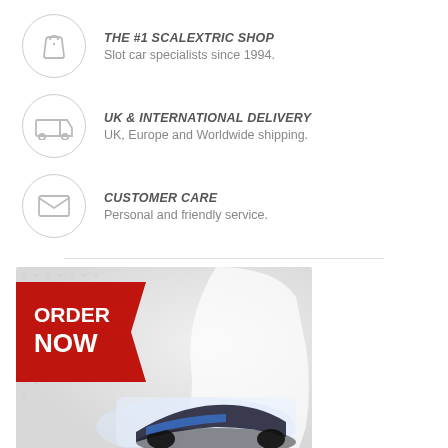THE #1 SCALEXTRIC SHOP — Slot car specialists since 1994.
UK & INTERNATIONAL DELIVERY — UK, Europe and Worldwide shipping.
CUSTOMER CARE — Personal and friendly service.
[Figure (photo): Promotional banner showing a Scalextric slot car with a red 'ORDER NOW' ribbon in the top-left corner, against a light grey dotted background.]